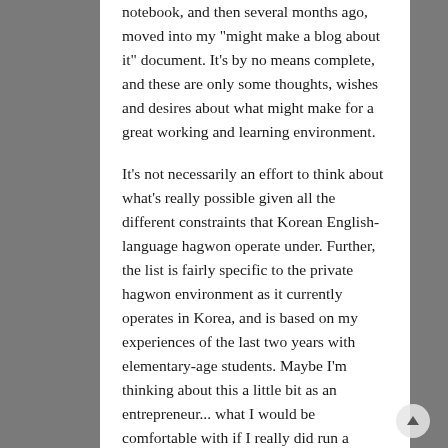notebook, and then several months ago, moved into my "might make a blog about it" document. It's by no means complete, and these are only some thoughts, wishes and desires about what might make for a great working and learning environment.
It's not necessarily an effort to think about what's really possible given all the different constraints that Korean English-language hagwon operate under. Further, the list is fairly specific to the private hagwon environment as it currently operates in Korea, and is based on my experiences of the last two years with elementary-age students. Maybe I'm thinking about this a little bit as an entrepreneur... what I would be comfortable with if I really did run a hagwon, and how I would differentiate it and be successful in the cutthroat Korean private after-school academy market.